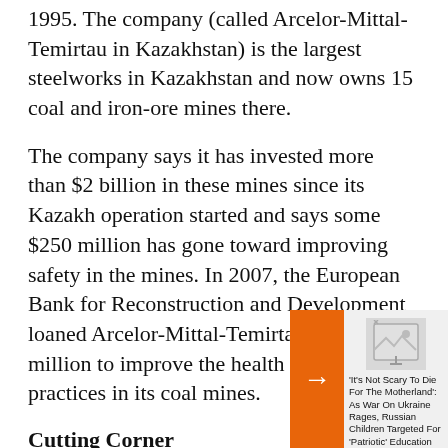1995. The company (called Arcelor-Mittal-Temirtau in Kazakhstan) is the largest steelworks in Kazakhstan and now owns 15 coal and iron-ore mines there.
The company says it has invested more than $2 billion in these mines since its Kazakh operation started and says some $250 million has gone toward improving safety in the mines. In 2007, the European Bank for Reconstruction and Development loaned Arcelor-Mittal-Temirtau $100 million to improve the health and safety practices in its coal mines.
Cutting Corner
But many say [text continues] Aynur Qurman[...] nongovernmer[...]
[Figure (other): Orange sidebar navigation arrow overlay with a related article card showing a broken image icon and headline: 'It's Not Scary To Die For The Motherland': As War On Ukraine Rages, Russian Children Targeted For 'Patriotic' Education]